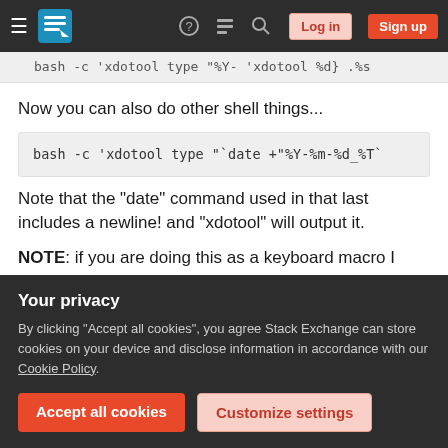Stack Exchange navigation bar with Log in and Sign up buttons
Now you can also do other shell things...
bash -c 'xdotool type "`date +"%Y-%m-%d_%T`
Note that the "date" command used in that last includes a newline! and "xdotool" will output it.
NOTE: if you are doing this as a keyboard macro I would also add a few more options to "xdotool" to
Your privacy
By clicking "Accept all cookies", you agree Stack Exchange can store cookies on your device and disclose information in accordance with our Cookie Policy.
Accept all cookies  Customize settings